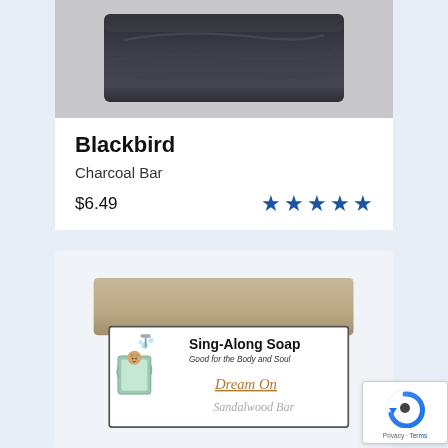[Figure (photo): Top portion of a dark charcoal soap bar with swirl texture, dark gray/black color]
Blackbird
Charcoal Bar
$6.49
[Figure (other): Five blue star rating icons]
[Figure (photo): Sing-Along Soap 'Dream On' Sandalwood Bar soap product with illustrated label showing cartoon character in bathtub]
Sing-Along Soap
Good for the Body and Soul
Dream On
Sandalwood Bar